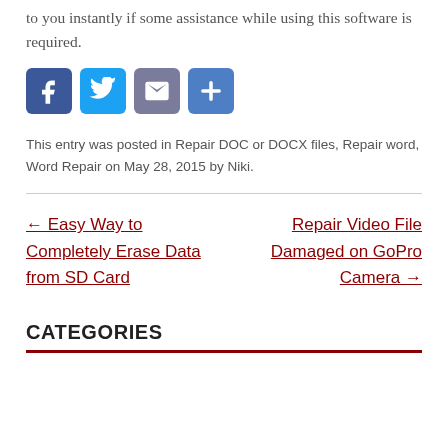to you instantly if some assistance while using this software is required.
[Figure (other): Social sharing buttons: Facebook, Twitter, Email, and Plus/Share icons in colored rounded squares]
This entry was posted in Repair DOC or DOCX files, Repair word, Word Repair on May 28, 2015 by Niki.
← Easy Way to Completely Erase Data from SD Card
Repair Video File Damaged on GoPro Camera →
CATEGORIES